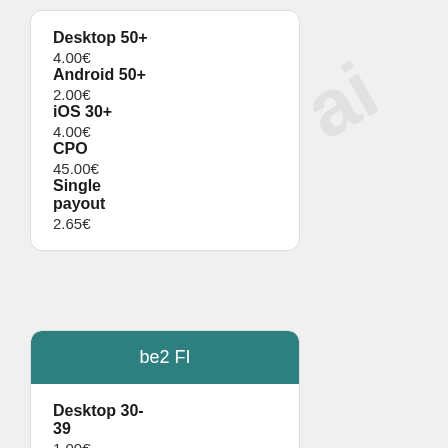Desktop 50+
4.00€
Android 50+
2.00€
iOS 30+
4.00€
CPO
45.00€
Single payout
2.65€
be2 FI
Desktop 30-39
1.00€